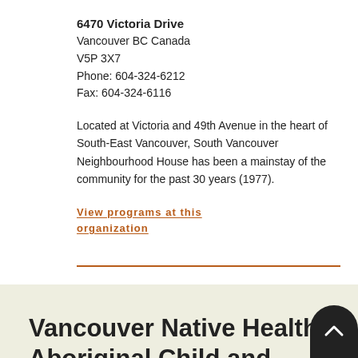6470 Victoria Drive
Vancouver BC Canada
V5P 3X7
Phone: 604-324-6212
Fax: 604-324-6116
Located at Victoria and 49th Avenue in the heart of South-East Vancouver, South Vancouver Neighbourhood House has been a mainstay of the community for the past 30 years (1977).
View programs at this organization
Vancouver Native Health Aboriginal Child and Family Services